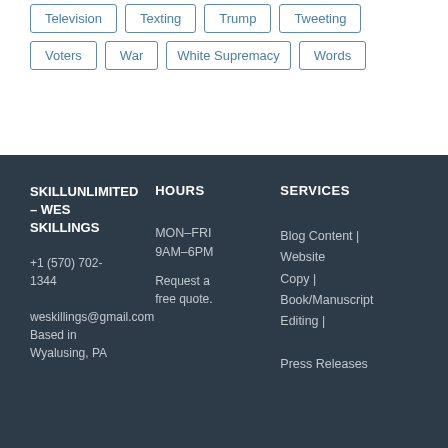Television
Texting
Trump
Tweeting
Voters
War
White Supremacy
Words
SKILLUNLIMITED – WES SKILLINGS
+1 (570) 702-1344
weskillings@gmail.com
Based in Wyalusing, PA
HOURS
MON–FRI 9AM–6PM
Request a free quote.
SERVICES
Blog Content | Website Copy | Book/Manuscript Editing | Press Releases